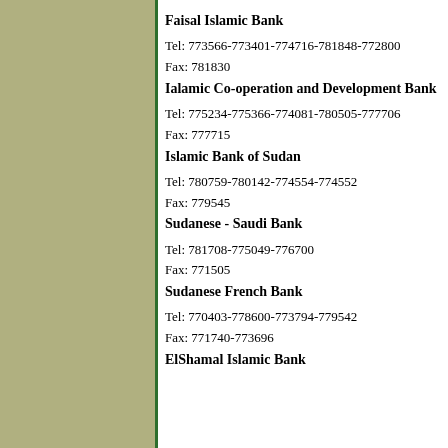Faisal Islamic Bank
Tel: 773566-773401-774716-781848-772800
Fax: 781830
Ialamic Co-operation and Development Bank
Tel: 775234-775366-774081-780505-777706
Fax: 777715
Islamic Bank of Sudan
Tel: 780759-780142-774554-774552
Fax: 779545
Sudanese - Saudi Bank
Tel: 781708-775049-776700
Fax: 771505
Sudanese French Bank
Tel: 770403-778600-773794-779542
Fax: 771740-773696
ElShamal Islamic Bank